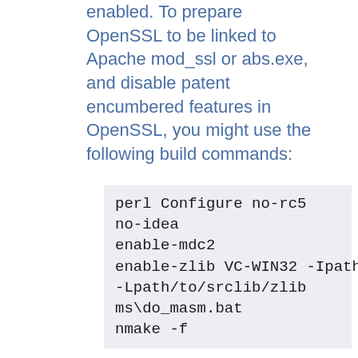enabled. To prepare OpenSSL to be linked to Apache mod_ssl or abs.exe, and disable patent encumbered features in OpenSSL, you might use the following build commands:
perl Configure no-rc5 no-idea enable-mdc2 enable-zlib VC-WIN32 -Ipath/to/srclib/zlib -Lpath/to/srclib/zlib ms\do_masm.bat nmake -f